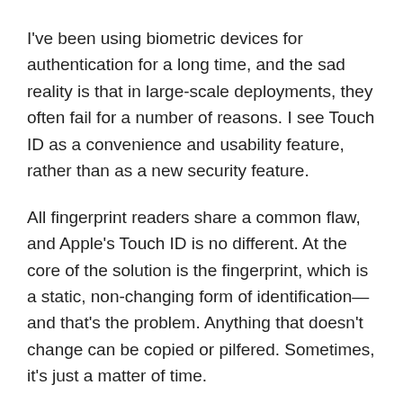I've been using biometric devices for authentication for a long time, and the sad reality is that in large-scale deployments, they often fail for a number of reasons. I see Touch ID as a convenience and usability feature, rather than as a new security feature.
All fingerprint readers share a common flaw, and Apple's Touch ID is no different. At the core of the solution is the fingerprint, which is a static, non-changing form of identification—and that's the problem. Anything that doesn't change can be copied or pilfered. Sometimes, it's just a matter of time.
The fingerprint—whether stored as an image or in some exotic file format—is still something that is stored. Sure, Apple (a [obscured] does the best [obscured] 's still